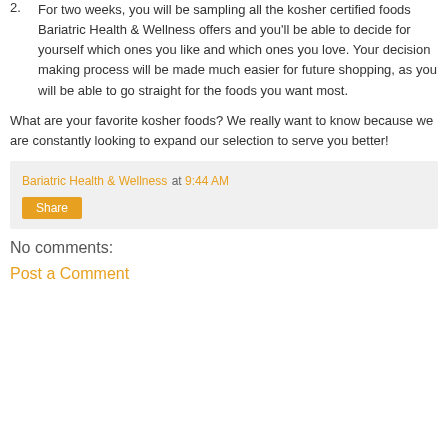2. For two weeks, you will be sampling all the kosher certified foods Bariatric Health & Wellness offers and you'll be able to decide for yourself which ones you like and which ones you love. Your decision making process will be made much easier for future shopping, as you will be able to go straight for the foods you want most.
What are your favorite kosher foods? We really want to know because we are constantly looking to expand our selection to serve you better!
Bariatric Health & Wellness at 9:44 AM
Share
No comments:
Post a Comment